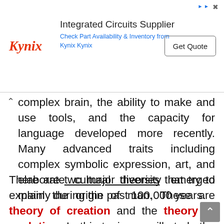[Figure (other): Kynix Integrated Circuits Supplier advertisement banner with logo, text 'Check Part Availability & Inventory from Kynix Kynix', and a 'Get Quote' button.]
complex brain, the ability to make and use tools, and the capacity for language developed more recently. Many advanced traits including complex symbolic expression, art, and elaborate cultural diversity emerged mainly during the past 100,000 years.
There are two major theories that try to explain the origin of man. These are theory of creation and the theory of evolution. In this topic we will study the theories of how man came to be, concentrating especially on the scientific theory of evolution.